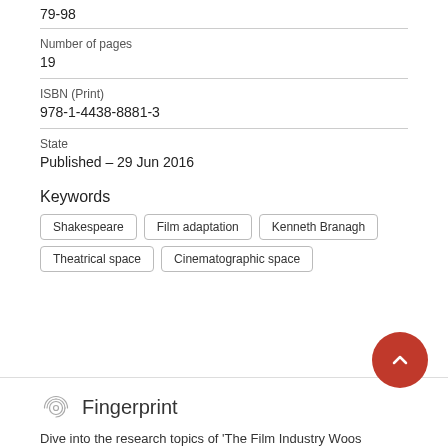79-98
Number of pages
19
ISBN (Print)
978-1-4438-8881-3
State
Published - 29 Jun 2016
Keywords
Shakespeare
Film adaptation
Kenneth Branagh
Theatrical space
Cinematographic space
Fingerprint
Dive into the research topics of 'The Film Industry Woos